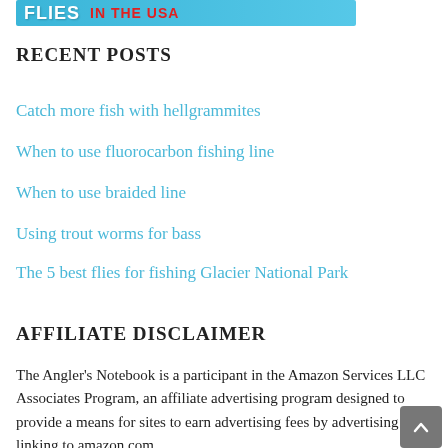[Figure (other): Banner image with fishing flies text and 'in the USA' in red on a blue background]
RECENT POSTS
Catch more fish with hellgrammites
When to use fluorocarbon fishing line
When to use braided line
Using trout worms for bass
The 5 best flies for fishing Glacier National Park
AFFILIATE DISCLAIMER
The Angler's Notebook is a participant in the Amazon Services LLC Associates Program, an affiliate advertising program designed to provide a means for sites to earn advertising fees by advertising and linking to amazon.com.